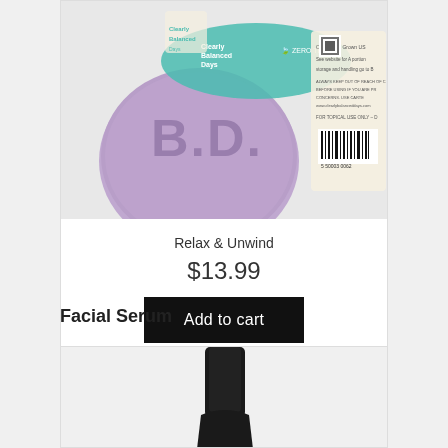[Figure (photo): Purple bath bomb product with 'B.D.' lettering and teal label showing 'Clearly Balanced Days' branding, ZERO THC, with barcode on back packaging visible]
Relax & Unwind
$13.99
Add to cart
Facial Serum
[Figure (photo): Facial serum product in a black cylindrical bottle, partially visible at bottom of page]